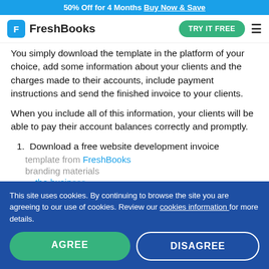50% Off for 4 Months Buy Now & Save
[Figure (logo): FreshBooks logo with blue F icon and TRY IT FREE green button and hamburger menu]
You simply download the template in the platform of your choice, add some information about your clients and the charges made to their accounts, include payment instructions and send the finished invoice to your clients.
When you include all of this information, your clients will be able to pay their account balances correctly and promptly.
1. Download a free website development invoice template from FreshBooks
This site uses cookies. By continuing to browse the site you are agreeing to our use of cookies. Review our cookies information for more details.